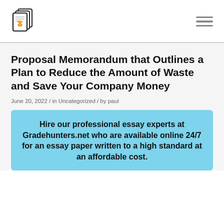[Figure (logo): Stack of documents with a trophy/pen icon logo]
Proposal Memorandum that Outlines a Plan to Reduce the Amount of Waste and Save Your Company Money
June 20, 2022 / in Uncategorized / by paul
Hire our professional essay experts at Gradehunters.net who are available online 24/7 for an essay paper written to a high standard at an affordable cost.